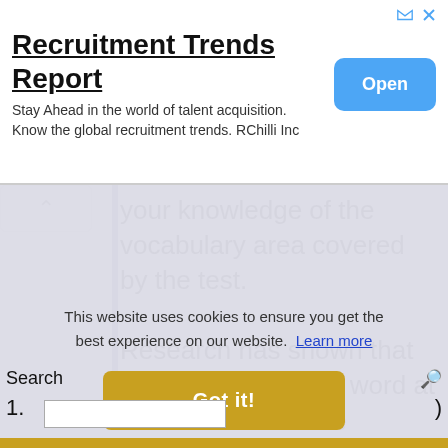[Figure (screenshot): Advertisement banner for 'Recruitment Trends Report' by RChilli Inc with an Open button]
your knowledge of the vocabulary area covered by the test.
Research has shown that you need to meet a word at least 7 times before you know it properly.
This website uses cookies to ensure you get the best experience on our website.  Learn more
Got it!
Search
1.